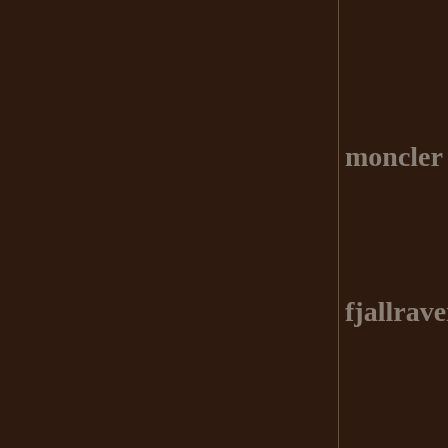moncler
fjallraven kank
coach factory o
le coq sportif